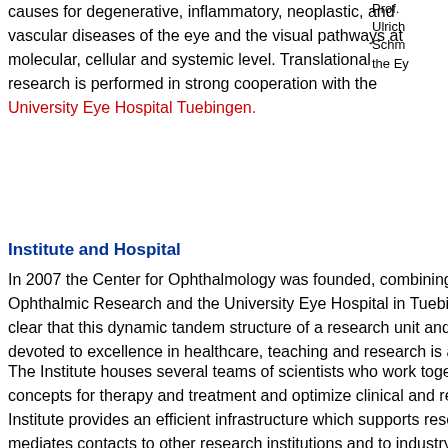causes for degenerative, inflammatory, neoplastic, and vascular diseases of the eye and the visual pathways at molecular, cellular and systemic level. Translational research is performed in strong cooperation with the University Eye Hospital Tuebingen.
Prof. Ulrich Schm... the Ey...
Institute and Hospital
In 2007 the Center for Ophthalmology was founded, combining Ophthalmic Research and the University Eye Hospital in Tuebin... clear that this dynamic tandem structure of a research unit and devoted to excellence in healthcare, teaching and research is a
The Institute houses several teams of scientists who work toget... concepts for therapy and treatment and optimize clinical and res... Institute provides an efficient infrastructure which supports rese... mediates contacts to other research institutions and to industry.